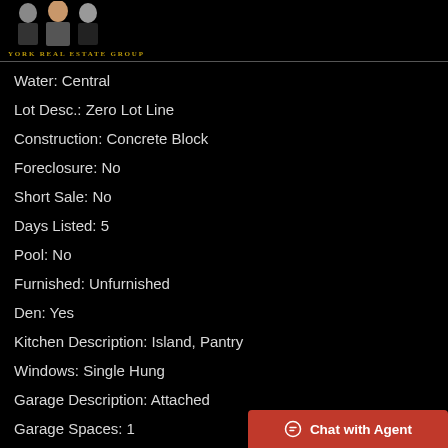York Real Estate Group
Water: Central
Lot Desc.: Zero Lot Line
Construction: Concrete Block
Foreclosure: No
Short Sale: No
Days Listed: 5
Pool: No
Furnished: Unfurnished
Den: Yes
Kitchen Description: Island, Pantry
Windows: Single Hung
Garage Description: Attached
Garage Spaces: 1